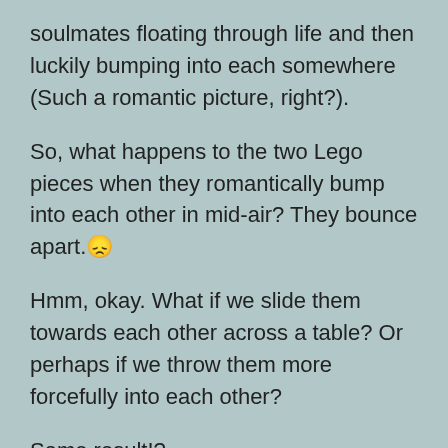soulmates floating through life and then luckily bumping into each somewhere (Such a romantic picture, right?).
So, what happens to the two Lego pieces when they romantically bump into each other in mid-air? They bounce apart. 😞
Hmm, okay. What if we slide them towards each other across a table? Or perhaps if we throw them more forcefully into each other?
Same result!?
Ouch, that isn't romantic at all. 😢